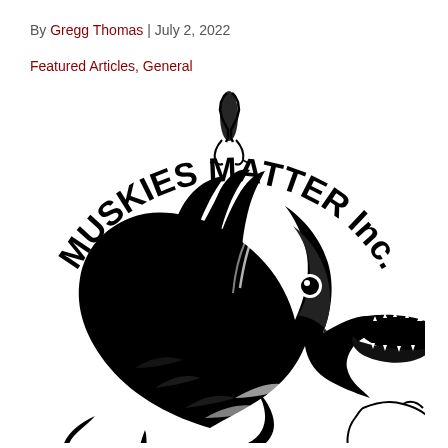By Gregg Thomas | July 2, 2022
Featured Articles, General
[Figure (logo): Muskies Matter Inc. logo featuring a large muskie fish jumping out of water with 'MUSKIES MATTER Inc.' text arched around it in bold black lettering, with a fishing lure hook above, black and white illustration style]